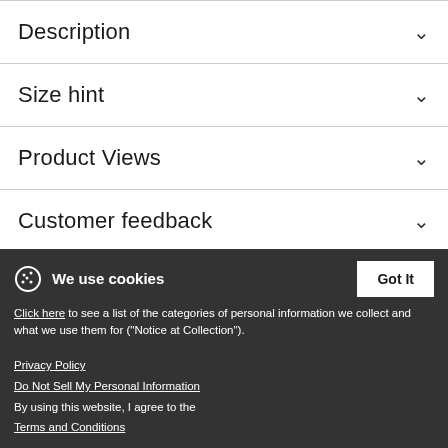Description
Size hint
Product Views
Customer feedback
drill
[Figure (photo): Partial view of a person's head with reddish-brown hair, cropped at the bottom of the page.]
We use cookies
Click here to see a list of the categories of personal information we collect and what we use them for ("Notice at Collection").
Privacy Policy
Do Not Sell My Personal Information
By using this website, I agree to the Terms and Conditions